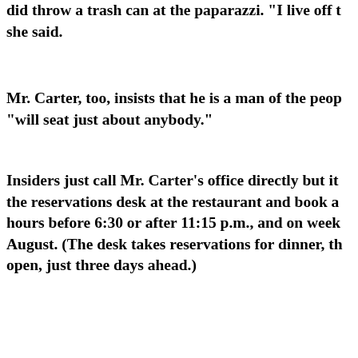did throw a trash can at the paparazzi. “I live off … she said.
Mr. Carter, too, insists that he is a man of the peop… “will seat just about anybody.”
Insiders just call Mr. Carter’s office directly but it… the reservations desk at the restaurant and book a… hours before 6:30 or after 11:15 p.m., and on week… August. (The desk takes reservations for dinner, th… open, just three days ahead.)
Mr. Carter, who lives on Bank Street and likes to p… Village is still a little Bohemia, has made a special … locals. This includes the decision to store the garba… overnight so that it can be picked up at the civilize… the usual 2 a.m.
Marilyn Dorato, president of the local block associ…